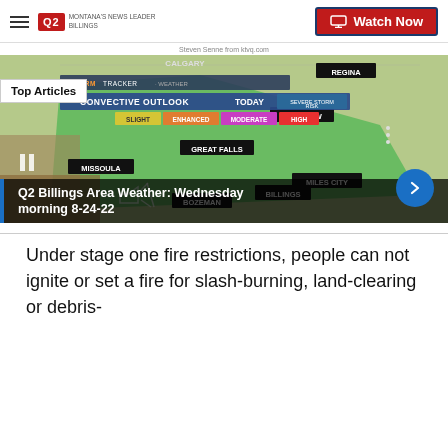Q2 Montana's News Leader | Watch Now
Steven Senne from ktvq.com
[Figure (screenshot): Weather map showing convective outlook for Montana with cities labeled: Glasgow, Missoula, Great Falls, Bozeman, Billings, Miles City, Regina. Overlaid with 'Top Articles' badge and convective outlook legend showing SLIGHT, ENHANCED, MODERATE, HIGH risk levels.]
Q2 Billings Area Weather: Wednesday morning 8-24-22
Under stage one fire restrictions, people can not ignite or set a fire for slash-burning, land-clearing or debris-